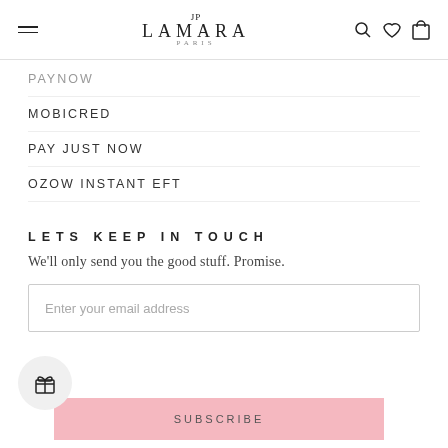LaMara Paris - navigation header with hamburger menu, logo, search, wishlist, and cart icons
PAYNOW (partially visible)
MOBICRED
PAY JUST NOW
OZOW INSTANT EFT
LETS KEEP IN TOUCH
We'll only send you the good stuff. Promise.
Enter your email address
SUBSCRIBE